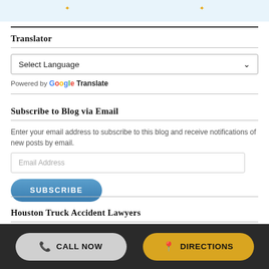Translator
Select Language
Powered by Google Translate
Subscribe to Blog via Email
Enter your email address to subscribe to this blog and receive notifications of new posts by email.
Email Address
SUBSCRIBE
Houston Truck Accident Lawyers
CALL NOW   DIRECTIONS